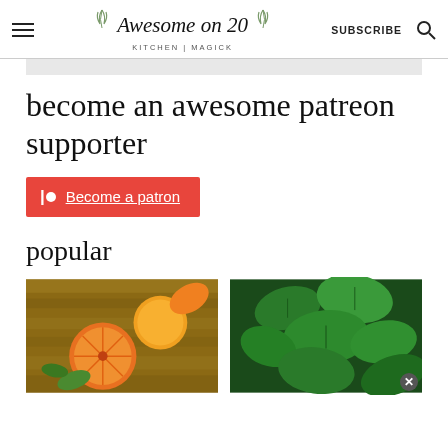Awesome on 20 KITCHEN | MAGICK SUBSCRIBE
become an awesome patreon supporter
Become a patron
popular
[Figure (photo): Sliced oranges on a wooden surface with green leaves]
[Figure (photo): Fresh green basil leaves]